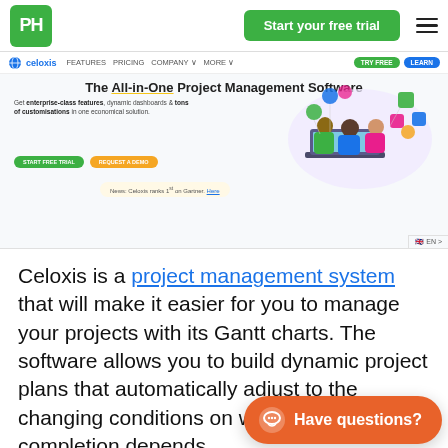PH logo | Start your free trial | hamburger menu
[Figure (screenshot): Screenshot of the Celoxis project management software website homepage showing navigation bar, hero headline 'The All-in-One Project Management Software', descriptive text about enterprise-class features, call-to-action buttons, and an illustration of people working at a laptop]
Celoxis is a project management system that will make it easier for you to manage your projects with its Gantt charts. The software allows you to build dynamic project plans that automatically adjust to the changing conditions on which the project's completion depends.
Celoxis also comes with resource management features that make it easy to allocate resources to each task.